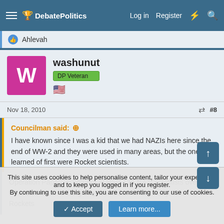DebatePolitics | Log in | Register
Ahlevah
washunut
DP Veteran
Nov 18, 2010 #8
Councilman said:
I have known since I was a kid that we had NAZIs here since the end of WW-2 and they were used in many areas, but the ones I learned of first were Rocket scientists.
Operation Paperclip brought at least 139 NAZI scientists over to work on the same thing they worked on in Germany. The V-2 Rockets
This site uses cookies to help personalise content, tailor your experience and to keep you logged in if you register.
By continuing to use this site, you are consenting to our use of cookies.